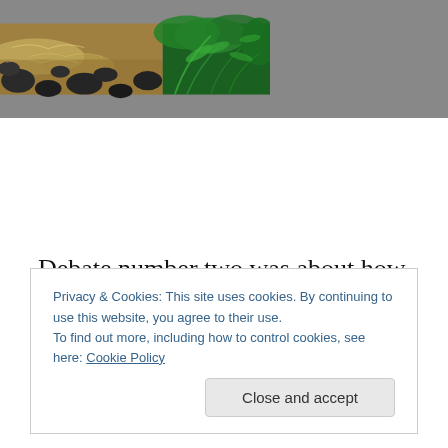[Figure (photo): Split photo: left side shows a rocky river with muddy/turbulent water and dark stones; right side shows lush green tropical foliage and ferns.]
Debate number two was about how to divide up our time. Do we head to the Brazilian Amazon, Sao Paolo and Rio? Do we explore Patagonia and its phenomenal
Privacy & Cookies: This site uses cookies. By continuing to use this website, you agree to their use.
To find out more, including how to control cookies, see here: Cookie Policy
[Close and accept]